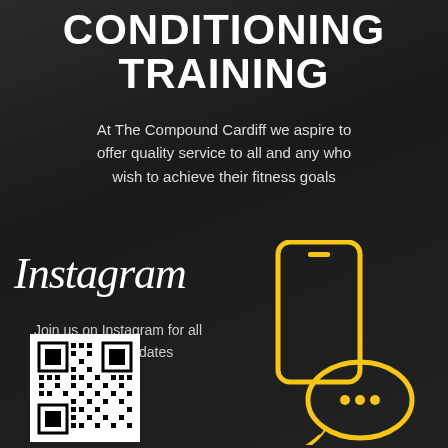CONDITIONING TRAINING
At The Compound Cardiff we aspire to offer quality service to all and any who wish to achieve their fitness goals
Instagram
Join us on Instagram for all the latest updates
[Figure (other): QR code for Instagram]
[Figure (illustration): Yellow outline illustration of a smartphone and chat bubble icon]